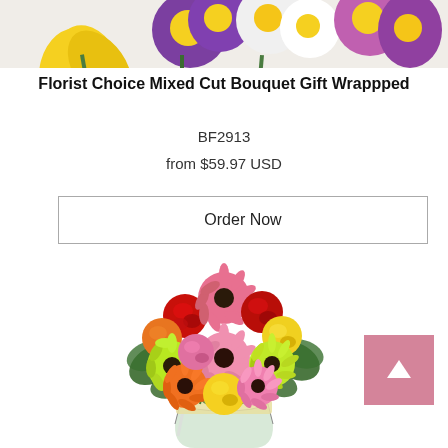[Figure (photo): Top portion of a mixed flower bouquet gift wrapped, showing purple, yellow, white, and pink flowers from above]
Florist Choice Mixed Cut Bouquet Gift Wrappped
BF2913
from $59.97 USD
Order Now
[Figure (photo): Colorful flower bouquet in a glass vase with red roses, pink gerbera daisies, yellow roses, orange gerbera daisies, lime green gerbera daisies, and pink roses with green foliage. A pink 'back to top' button with upward arrow is visible on the right side.]